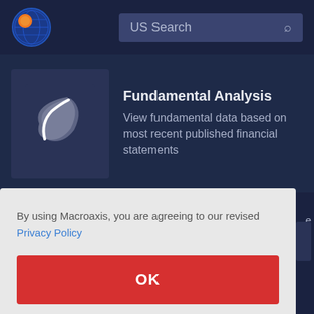[Figure (logo): Macroaxis logo: circular globe icon with orange and blue colors]
US Search
[Figure (illustration): Fundamental Analysis card icon: dark background with a stylized white/gray leaf or feather shape]
Fundamental Analysis
View fundamental data based on most recent published financial statements
By using Macroaxis, you are agreeing to our revised Privacy Policy
OK
de. We analyze your portfolios and positions such as Halliburton